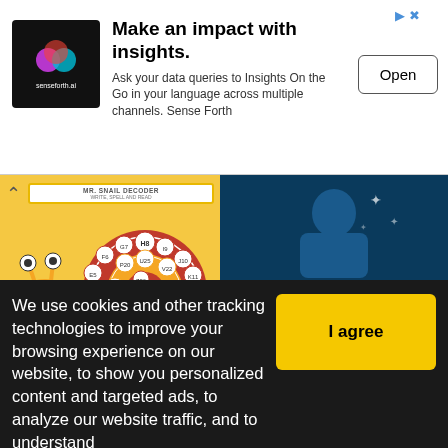[Figure (screenshot): Advertisement banner: senseforth.ai logo on black background, headline 'Make an impact with insights.', subtitle 'Ask your data queries to Insights On the Go in your language across multiple channels. Sense Forth', and an 'Open' button]
[Figure (illustration): MR. SNAIL DECODER card with yellow snail character holding a shell with letter/number circles, yellow background]
MR SNAIL DECODER - writing, spelling and reading in one activity!
Level: elementary
Age: 7-17
[Figure (photo): User profile photo of a person against dark background, username 'ironda' in blue italic, Spanish flag below]
[Figure (screenshot): Video thumbnail showing an elderly man outdoors with text 'New Studies Highlight the Negative Effect of Pollution' and a play button]
We use cookies and other tracking technologies to improve your browsing experience on our website, to show you personalized content and targeted ads, to analyze our website traffic, and to understand
I agree